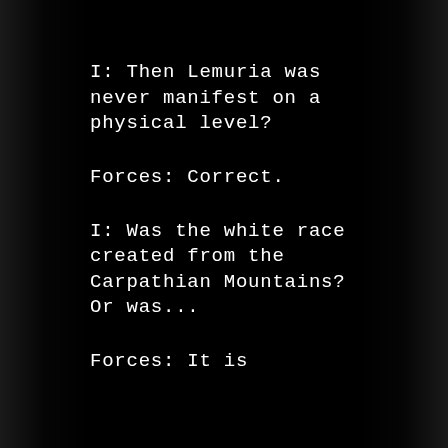I: Then Lemuria was never manifest on a physical level?
Forces: Correct.
I: Was the white race created from the Carpathian Mountains? Or was...
Forces: It is